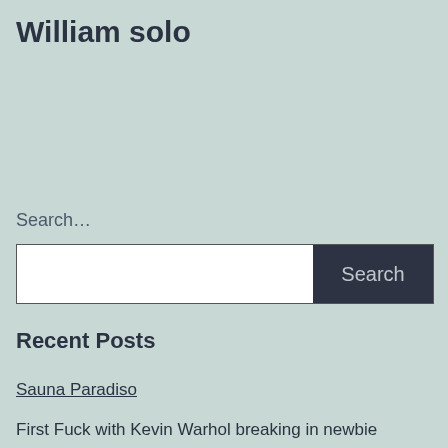William solo
Search…
Search
Recent Posts
Sauna Paradiso
First Fuck with Kevin Warhol breaking in newbie